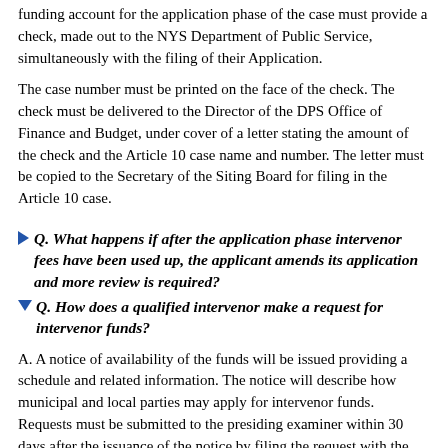funding account for the application phase of the case must provide a check, made out to the NYS Department of Public Service, simultaneously with the filing of their Application.
The case number must be printed on the face of the check. The check must be delivered to the Director of the DPS Office of Finance and Budget, under cover of a letter stating the amount of the check and the Article 10 case name and number. The letter must be copied to the Secretary of the Siting Board for filing in the Article 10 case.
Q. What happens if after the application phase intervenor fees have been used up, the applicant amends its application and more review is required?
Q. How does a qualified intervenor make a request for intervenor funds?
A. A notice of availability of the funds will be issued providing a schedule and related information. The notice will describe how municipal and local parties may apply for intervenor funds. Requests must be submitted to the presiding examiner within 30 days after the issuance of the notice by filing the request with the Secretary and submitting a copy to the presiding examiner and to the other parties to the proceeding. At any pre-hearing conference